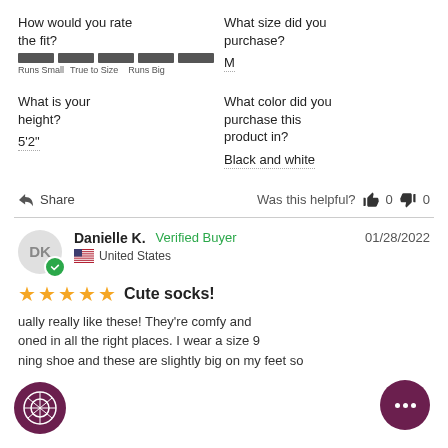How would you rate the fit?
[Figure (other): Fit rating bar: 5 grey bars across a scale labeled Runs Small, True to Size, Runs Big]
What size did you purchase?
M
What is your height?
5'2"
What color did you purchase this product in?
Black and white
Share
Was this helpful? 0 0
Danielle K. Verified Buyer 01/28/2022 United States
Cute socks!
ually really like these! They're comfy and oned in all the right places. I wear a size 9 ning shoe and these are slightly big on my feet so